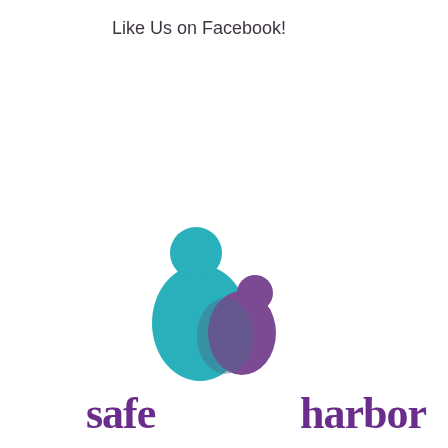Like Us on Facebook!
[Figure (logo): Safe Harbor logo with teal and purple overlapping figures representing an adult and child, with text 'safe harbor' in purple below]